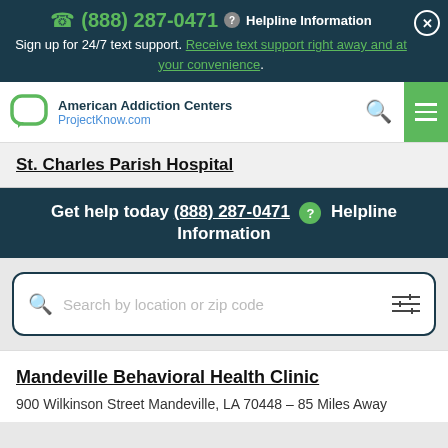(888) 287-0471 Helpline Information
Sign up for 24/7 text support. Receive text support right away and at your convenience.
[Figure (logo): American Addiction Centers ProjectKnow.com logo with speech bubble icon]
St. Charles Parish Hospital
Get help today (888) 287-0471 ? Helpline Information
Search by location or zip code
Mandeville Behavioral Health Clinic
900 Wilkinson Street Mandeville, LA 70448 - 85 Miles Away